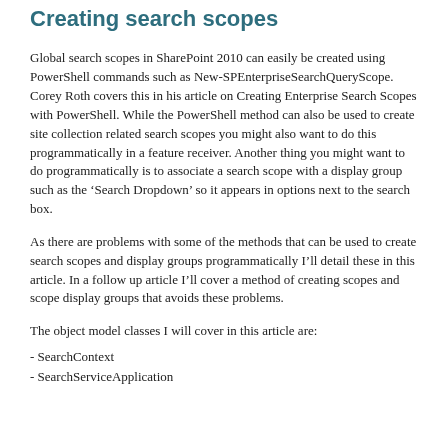Creating search scopes
Global search scopes in SharePoint 2010 can easily be created using PowerShell commands such as New-SPEnterpriseSearchQueryScope. Corey Roth covers this in his article on Creating Enterprise Search Scopes with PowerShell. While the PowerShell method can also be used to create site collection related search scopes you might also want to do this programmatically in a feature receiver. Another thing you might want to do programmatically is to associate a search scope with a display group such as the ‘Search Dropdown’ so it appears in options next to the search box.
As there are problems with some of the methods that can be used to create search scopes and display groups programmatically I’ll detail these in this article. In a follow up article I’ll cover a method of creating scopes and scope display groups that avoids these problems.
The object model classes I will cover in this article are:
- SearchContext
- SearchServiceApplication